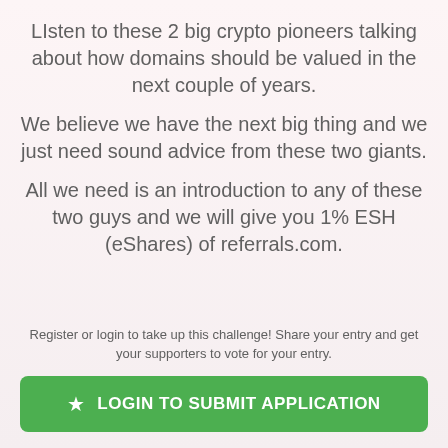LIsten to these 2 big crypto pioneers talking about how domains should be valued in the next couple of years.
We believe we have the next big thing and we just need sound advice from these two giants.
All we need is an introduction to any of these two guys and we will give you 1% ESH (eShares) of referrals.com.
Register or login to take up this challenge! Share your entry and get your supporters to vote for your entry.
LOGIN TO SUBMIT APPLICATION